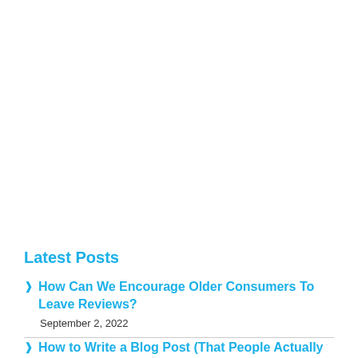Latest Posts
How Can We Encourage Older Consumers To Leave Reviews?
September 2, 2022
How to Write a Blog Post (That People Actually Want